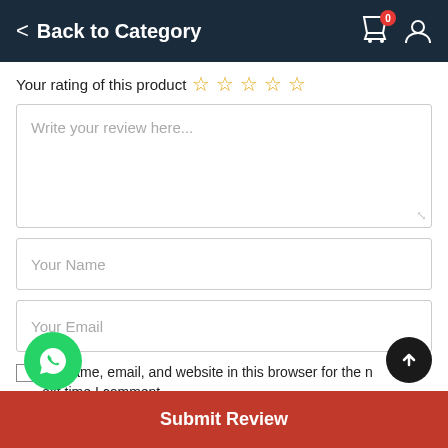< Back to Category
Your rating of this product ☆ ☆ ☆ ☆ ☆
Write your review here...
Your Name
Your Email
Save my name, email, and website in this browser for the next time I comment.
Submit Review